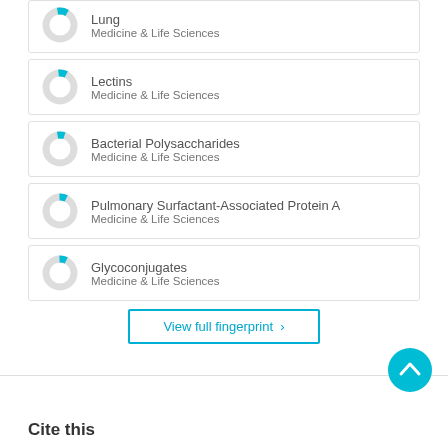[Figure (donut-chart): Partial donut chart for Lung, Medicine & Life Sciences]
[Figure (donut-chart): Small donut chart for Lectins, Medicine & Life Sciences]
[Figure (donut-chart): Small donut chart for Bacterial Polysaccharides, Medicine & Life Sciences]
[Figure (donut-chart): Small donut chart for Pulmonary Surfactant-Associated Protein A, Medicine & Life Sciences]
[Figure (donut-chart): Small donut chart for Glycoconjugates, Medicine & Life Sciences]
View full fingerprint >
Cite this